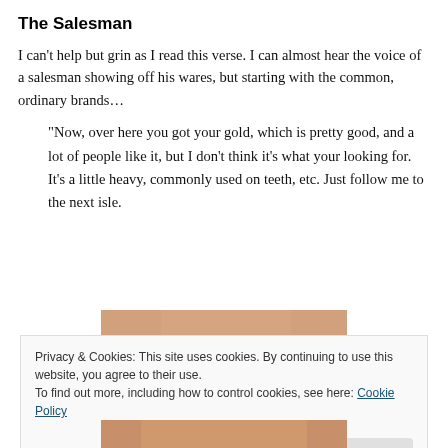The Salesman
I can't help but grin as I read this verse. I can almost hear the voice of a salesman showing off his wares, but starting with the common, ordinary brands…
“Now, over here you got your gold, which is pretty good, and a lot of people like it, but I don’t think it’s what your looking for. It’s a little heavy, commonly used on teeth, etc. Just follow me to the next isle.
[Figure (photo): Close-up photo of a person's face/skin, partially visible]
Privacy & Cookies: This site uses cookies. By continuing to use this website, you agree to their use.
To find out more, including how to control cookies, see here: Cookie Policy
Close and accept